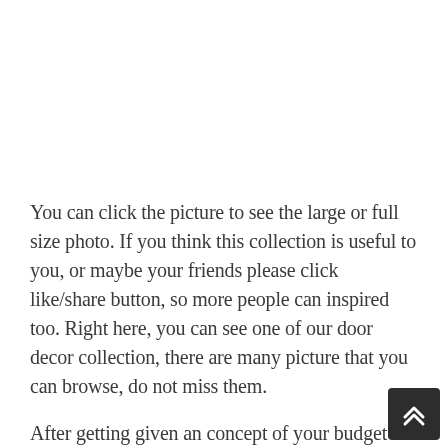[Figure (photo): White/blank image area at the top of the page (image not visible in this crop)]
You can click the picture to see the large or full size photo. If you think this collection is useful to you, or maybe your friends please click like/share button, so more people can inspired too. Right here, you can see one of our door decor collection, there are many picture that you can browse, do not miss them.
After getting given an concept of your budget and your residential necessities, the architect would be capable to give you the initial drawings of the home. It is best to give a transparent-cut idea of the number of rooms bedrooms, residing rooms, bathrooms, and the type of